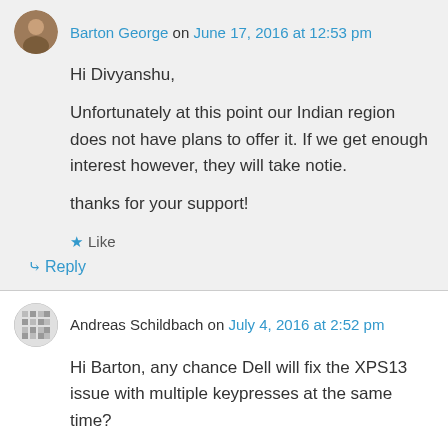Barton George on June 17, 2016 at 12:53 pm
Hi Divyanshu,

Unfortunately at this point our Indian region does not have plans to offer it. If we get enough interest however, they will take notie.

thanks for your support!
★ Like
↳ Reply
Andreas Schildbach on July 4, 2016 at 2:52 pm
Hi Barton, any chance Dell will fix the XPS13 issue with multiple keypresses at the same time?